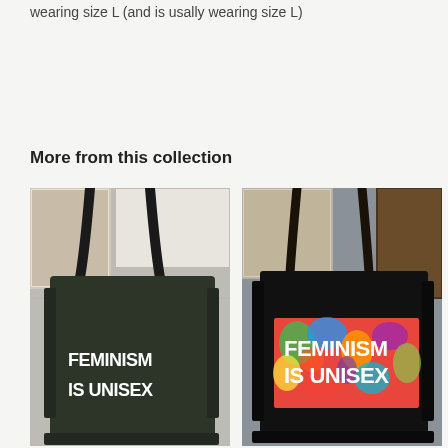wearing size L (and is usally wearing size L)
More from this collection
[Figure (photo): Black tote bag with 'FEMINISM IS UNISEX' printed in white bold text, hanging on a wall with framed artwork in background]
[Figure (photo): Black tote bag with colorful floral/paisley pattern panel featuring 'FEMINISM IS UNISEX' in white bold text, hanging on a wall with framed artwork in background]